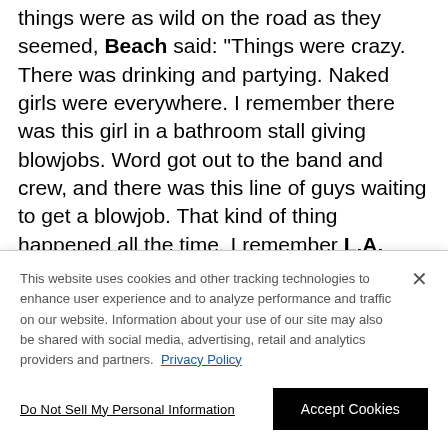things were as wild on the road as they seemed, Beach said: "Things were crazy. There was drinking and partying. Naked girls were everywhere. I remember there was this girl in a bathroom stall giving blowjobs. Word got out to the band and crew, and there was this line of guys waiting to get a blowjob. That kind of thing happened all the time. I remember L.A. GUNS had orgies when they toured. You'd go on their
This website uses cookies and other tracking technologies to enhance user experience and to analyze performance and traffic on our website. Information about your use of our site may also be shared with social media, advertising, retail and analytics providers and partners. Privacy Policy
Do Not Sell My Personal Information
Accept Cookies